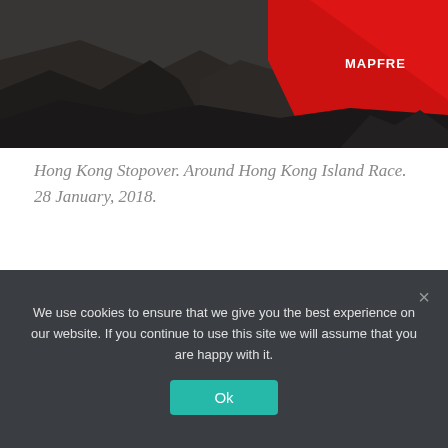[Figure (photo): Sailing boat with red MAPFRE sail and rocky coastline background]
Hong Kong Stopover. Around Hong Kong Island Race. 28 January, 2018.
Light and variable wind shortly after the start allowed the leading boats to break away as they found new wind pressure first. But it didn’t mean opportunities for passing later in the afternoon were completely closed off.
We use cookies to ensure that we give you the best experience on our website. If you continue to use this site we will assume that you are happy with it.